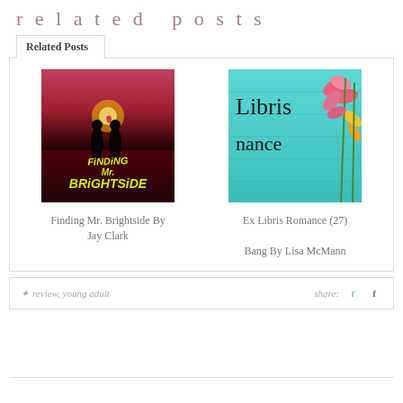related posts
Related Posts
[Figure (photo): Book cover for Finding Mr. Brightside by Jay Clark - romantic silhouette on beach at sunset with yellow text]
Finding Mr. Brightside By Jay Clark
[Figure (photo): Ex Libris Romance blog image - teal wooden background with pink and orange lilies and cursive Libris romance text]
Ex Libris Romance (27)

Bang By Lisa McMann
review, young adult
share: